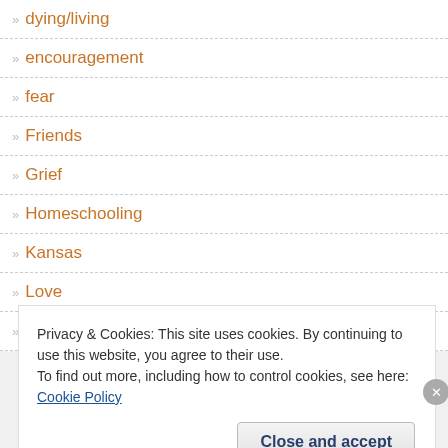» dying/living
» encouragement
» fear
» Friends
» Grief
» Homeschooling
» Kansas
» Love
» Parenting
Privacy & Cookies: This site uses cookies. By continuing to use this website, you agree to their use.
To find out more, including how to control cookies, see here: Cookie Policy
Close and accept